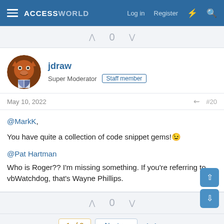ACCESSWORLD — Log in  Register
0
[Figure (illustration): User avatar for jdraw: cartoon cat face with orange/red tones and a shield emblem, circular crop]
jdraw
Super Moderator  Staff member
May 10, 2022  #20
@MarkK,
You have quite a collection of code snippet gems! 😉

@Pat Hartman
Who is Roger?? I'm missing something. If you're referring to vbWatchdog, that's Wayne Phillips.
0
1 of 3  Next  ▶▶